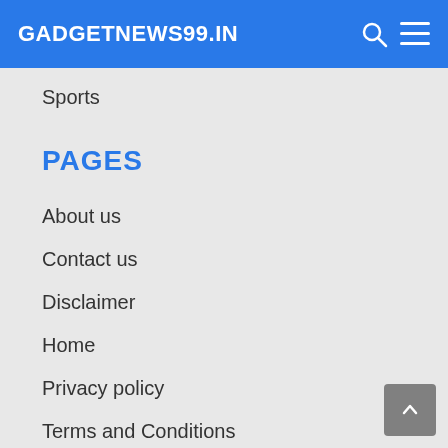GADGETNEWS99.IN
Sports
PAGES
About us
Contact us
Disclaimer
Home
Privacy policy
Terms and Conditions